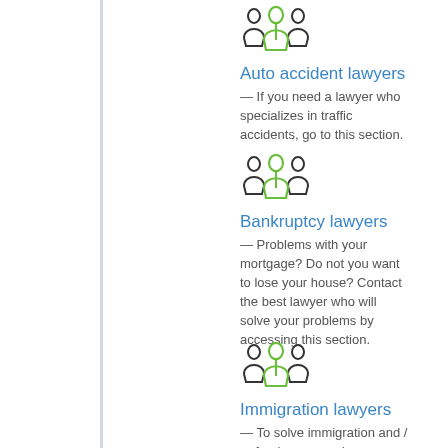[Figure (illustration): Icon of three people silhouettes with green center figure, representing a group/lawyers]
Auto accident lawyers
— If you need a lawyer who specializes in traffic accidents, go to this section.
[Figure (illustration): Icon of three people silhouettes with green center figure, representing a group/lawyers]
Bankruptcy lawyers
— Problems with your mortgage? Do not you want to lose your house? Contact the best lawyer who will solve your problems by accessing this section.
[Figure (illustration): Icon of three people silhouettes with green center figure, representing a group/lawyers]
Immigration lawyers
— To solve immigration and / or foreign papers here you will find the best professionals who can